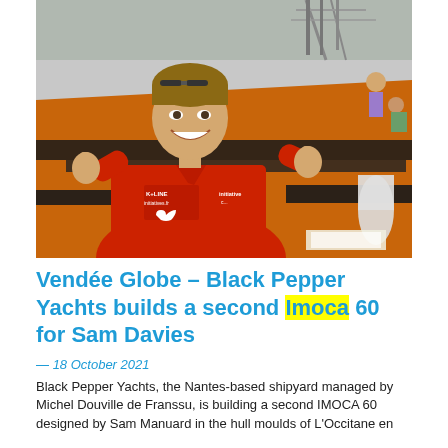[Figure (photo): A woman in a red polo shirt giving two thumbs up in a boat-building workshop. Large orange and black hull molds are visible on the floor behind her. Workers are visible in the background. The woman appears happy and energetic.]
Vendée Globe – Black Pepper Yachts builds a second Imoca 60 for Sam Davies
— 18 October 2021
Black Pepper Yachts, the Nantes-based shipyard managed by Michel Douville de Franssu, is building a second IMOCA 60 designed by Sam Manuard in the hull moulds of L'Occitane en